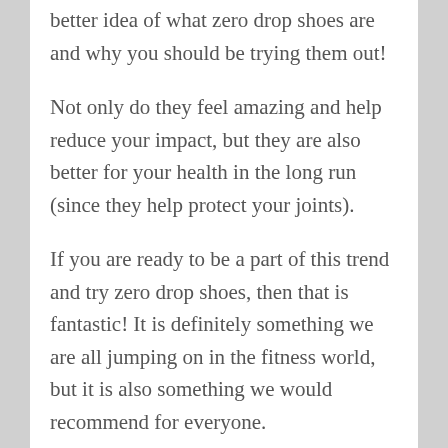better idea of what zero drop shoes are and why you should be trying them out!
Not only do they feel amazing and help reduce your impact, but they are also better for your health in the long run (since they help protect your joints).
If you are ready to be a part of this trend and try zero drop shoes, then that is fantastic! It is definitely something we are all jumping on in the fitness world, but it is also something we would recommend for everyone.